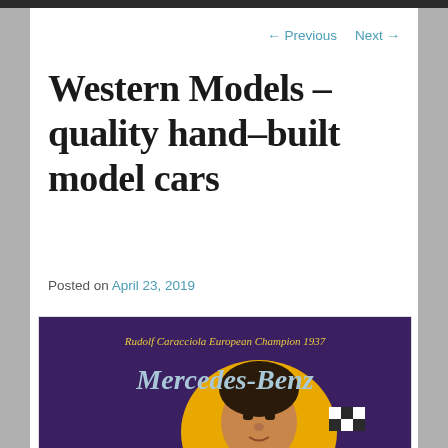← Previous   Next →
Western Models – quality hand–built model cars
Posted on April 23, 2019
[Figure (photo): Vintage Mercedes-Benz advertising poster reading 'Rudolf Caracciola European Champion 1937' with stylized Mercedes-Benz lettering and a racing driver portrait in yellow and purple.]